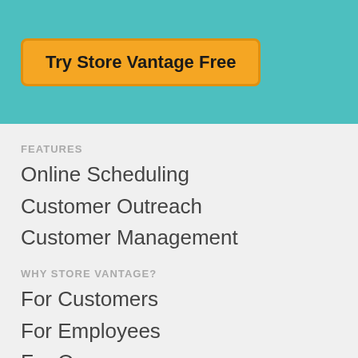[Figure (screenshot): Teal/turquoise banner section with a yellow 'Try Store Vantage Free' button]
FEATURES
Online Scheduling
Customer Outreach
Customer Management
WHY STORE VANTAGE?
For Customers
For Employees
For Owners
HELP
Support
FAQs